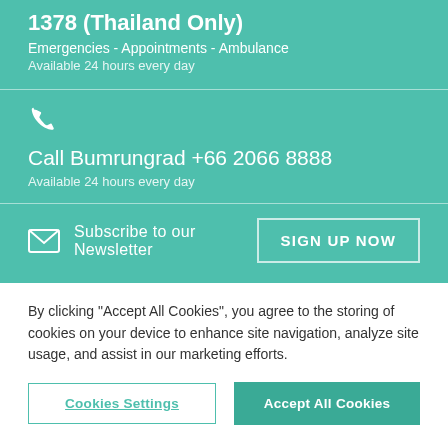1378 (Thailand Only)
Emergencies - Appointments - Ambulance
Available 24 hours every day
Call Bumrungrad +66 2066 8888
Available 24 hours every day
Subscribe to our Newsletter
SIGN UP NOW
By clicking "Accept All Cookies", you agree to the storing of cookies on your device to enhance site navigation, analyze site usage, and assist in our marketing efforts.
Cookies Settings
Accept All Cookies